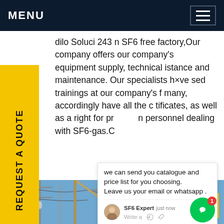MENU
dilo Soluci 243 n SF6 free factory,Our company offers our company's equipment supply, technical istance and maintenance. Our specialists h×ve sed trainings at our company's f many, accordingly have all the c tificates, as well as a right for pr n personnel dealing with SF6-gas.C
REQUEST A QUOTE
[Figure (screenshot): Chat popup widget showing message: 'we can send you catalogue and price list for you choosing. Leave us your email or whatsapp .' with SF6 Expert avatar, timestamp 'just now', and Write a message input with like and attachment icons]
[Figure (photo): Electrical substation with power lines, transformers, and workers in hard hats working on high voltage equipment against a blue sky]